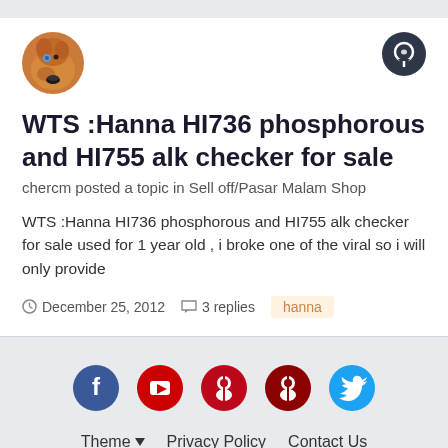[Figure (photo): User avatar - cartoon dog illustration in orange/brown tones, circular crop]
[Figure (illustration): Dark circular chat/comment icon button in top right]
WTS :Hanna HI736 phosphorous and HI755 alk checker for sale
chercm posted a topic in Sell off/Pasar Malam Shop
WTS :Hanna HI736 phosphorous and HI755 alk checker for sale used for 1 year old , i broke one of the viral so i will only provide
December 25, 2012   3 replies   hanna
[Figure (illustration): Social media icons row: Facebook (blue circle), YouTube (red circle), Pinterest (red circle), Pinterest (dark red circle), Twitter (blue circle)]
Theme  Privacy Policy  Contact Us
www.sgreefclub.com
Powered by Invision Community